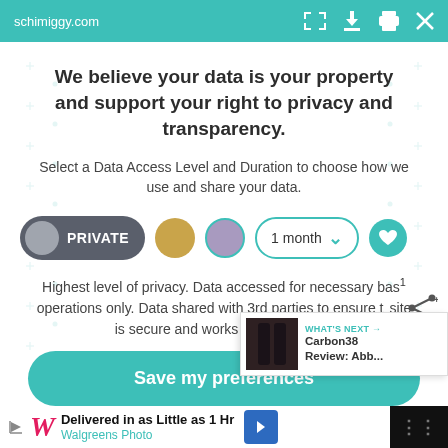schimiggy.com
We believe your data is your property and support your right to privacy and transparency.
Select a Data Access Level and Duration to choose how we use and share your data.
[Figure (infographic): Privacy controls row: PRIVATE button with grey circle, gold dot, purple dot, 1 month dropdown, teal heart button]
Highest level of privacy. Data accessed for necessary bas operations only. Data shared with 3rd parties to ensure t site is secure and works on your device
[Figure (infographic): What's Next card showing Carbon38 Review: Abb...]
Save my preferences
[Figure (infographic): Walgreens Photo ad: Delivered in as Little as 1 Hr]